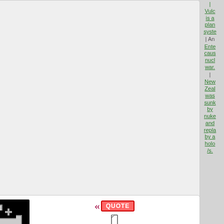| Vulcan is a planetary system | An Enterprise causes nuclear war. | New Zealand was sunk by nukes and replaced by a hologram/s.
[Figure (illustration): Black background image with a white Jerusalem Cross (cross potent) symbol — a cross with crossbars at each end, with additional small crosses in each quadrant. Used as avatar for user 'Tarsonis'.]
QUOTE by Tarsonis » Mon
Tarsonis
Postmaster of the Fleet